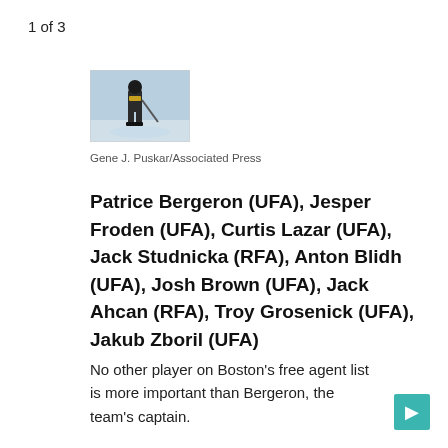1 of 3
[Figure (photo): A hockey player in uniform on the ice, photo by Gene J. Puskar/Associated Press]
Gene J. Puskar/Associated Press
Patrice Bergeron (UFA), Jesper Froden (UFA), Curtis Lazar (UFA), Jack Studnicka (RFA), Anton Blidh (UFA), Josh Brown (UFA), Jack Ahcan (RFA), Troy Grosenick (UFA), Jakub Zboril (UFA)
No other player on Boston’s free agent list is more important than Bergeron, the team’s captain.